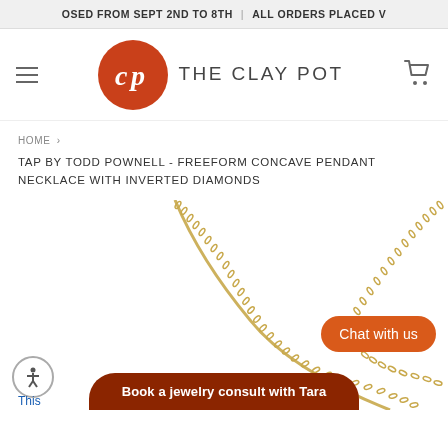OSED FROM SEPT 2ND TO 8TH | ALL ORDERS PLACED V
[Figure (logo): The Clay Pot logo: orange circle with white 'cp' monogram and brand name 'THE CLAY POT' in gray uppercase letters]
HOME >
TAP BY TODD POWNELL - FREEFORM CONCAVE PENDANT NECKLACE WITH INVERTED DIAMONDS
[Figure (photo): Gold chain necklace on white background, chains visible forming a V-shape from upper corners]
Chat with us
Book a jewelry consult with Tara
This